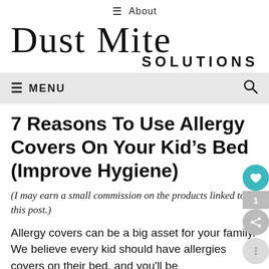≡ About
Dust Mite SOLUTIONS
≡ MENU
7 Reasons To Use Allergy Covers On Your Kid's Bed (Improve Hygiene)
(I may earn a small commission on the products linked to in this post.)
Allergy covers can be a big asset for your family. We believe every kid should have allergies covers on their bed, and you'll be